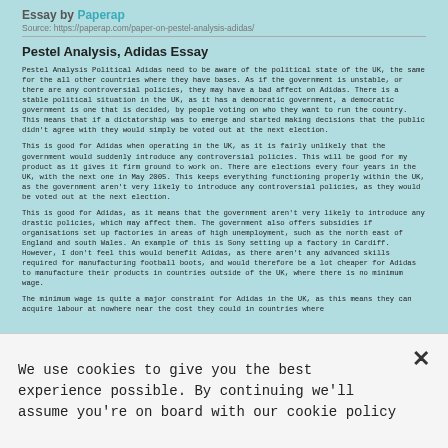Essay by Paperap
Source: https://paperap.com/paper-on-pestel-analysis-adidas/
Pestel Analysis, Adidas Essay
Pestel Analysis Political Adidas need to be aware of the political state of the UK, the same for the all other countries where they have bases. As if the government is unstable, or there are any controversial policies, they may have a bad affect on Adidas. There is a stable political situation in the UK, as it has a democratic government, a democratic government is one that is decided, by people voting on who they want to run the country. This means that if a dictatorship was to emerge and started making decisions that the public didn't agree with they would simply be voted out at the next election.
This is good for Adidas when operating in the UK, as it is fairly unlikely that the government would suddenly introduce any controversial policies. This will be good for my product as it gives it firm ground to work on. There are elections every four years in the UK, with the next one in May 2005. This keeps everything functioning properly within the UK, as the government aren't very likely to introduce any controversial policies, as they would be voted out at the next election.
This is good for Adidas, as it means that the government aren't very likely to introduce any drastic policies, which may affect them. The government also offers subsidies if organisations set up factories in areas of high unemployment, such as the north east of England and south Wales. An example of this is Sony setting up a factory in Cardiff. However, I don't feel this would benefit Adidas, as there aren't any advanced skills required for manufacturing football boots, and would therefore be a lot cheaper for Adidas to manufacture their products in countries outside of the UK, where there is no minimum wage.
The minimum wage is quite a major constraint for Adidas in the UK, as this means they can acquire labour at nowhere near the cost they could in countries where
We use cookies to give you the best experience possible. By continuing we'll assume you're on board with our cookie policy